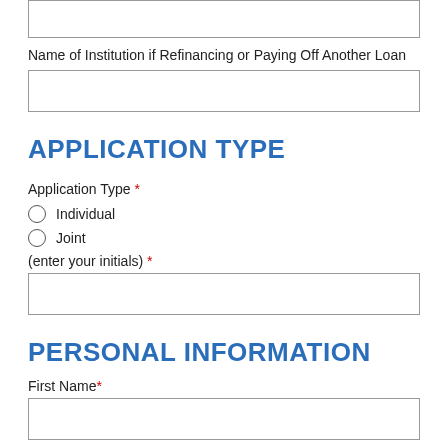Name of Institution if Refinancing or Paying Off Another Loan
[input box]
APPLICATION TYPE
Application Type *
Individual
Joint
(enter your initials) *
[input box]
PERSONAL INFORMATION
First Name*
[input box]
Middle Initial*